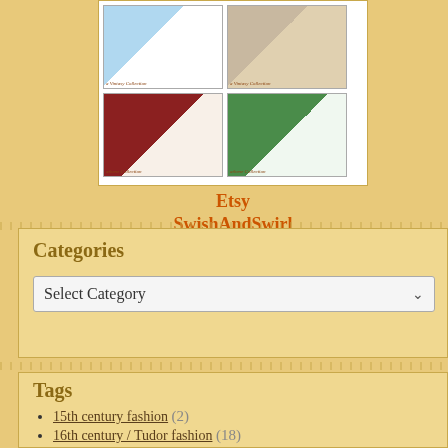[Figure (illustration): Grid of four doll knitting pattern cover images arranged 2x2, showing dolls in various outfits. Top-left: blue dress. Top-right: casual outfit with bag. Bottom-left: Lucy Cardigan in red. Bottom-right: Windermere Sweater Vest in green.]
Etsy
SwishAndSwirl
Categories
Select Category
Tags
15th century fashion (2)
16th century / Tudor fashion (18)